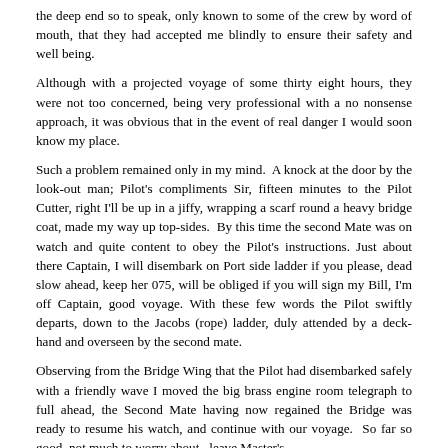the deep end so to speak, only known to some of the crew by word of mouth, that they had accepted me blindly to ensure their safety and well being.
Although with a projected voyage of some thirty eight hours, they were not too concerned, being very professional with a no nonsense approach, it was obvious that in the event of real danger I would soon know my place.
Such a problem remained only in my mind.  A knock at the door by the look-out man; Pilot's compliments Sir, fifteen minutes to the Pilot Cutter, right I'll be up in a jiffy, wrapping a scarf round a heavy bridge coat, made my way up top-sides.  By this time the second Mate was on watch and quite content to obey the Pilot's instructions. Just about there Captain, I will disembark on Port side ladder if you please, dead slow ahead, keep her 075, will be obliged if you will sign my Bill, I'm off Captain, good voyage. With these few words the Pilot swiftly departs, down to the Jacobs (rope) ladder, duly attended by a deck-hand and overseen by the second mate.
Observing from the Bridge Wing that the Pilot had disembarked safely with a friendly wave I moved the big brass engine room telegraph to full ahead, the Second Mate having now regained the Bridge was ready to resume his watch, and continue with our voyage.  So far so good, not much to worry about,  leave Master's